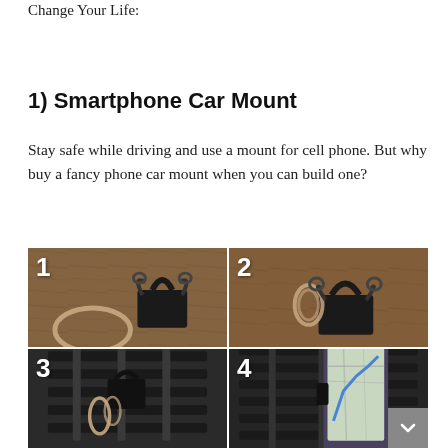Change Your Life:
1) Smartphone Car Mount
Stay safe while driving and use a mount for cell phone. But why buy a fancy phone car mount when you can build one?
[Figure (photo): Four-step photo tutorial showing how to make a DIY smartphone car mount using a binder clip and rubber band. Step 1: rubber band and binder clip on wood surface. Step 2: rubber band wrapped around binder clip handles. Step 3: assembled clip mounted in car air vent. Step 4: phone mounted in the clip holder in car vent showing map navigation.]